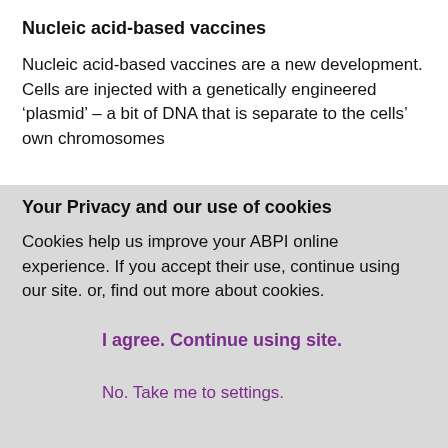Nucleic acid-based vaccines
Nucleic acid-based vaccines are a new development. Cells are injected with a genetically engineered ‘plasmid’ – a bit of DNA that is separate to the cells’ own chromosomes
Your Privacy and our use of cookies
Cookies help us improve your ABPI online experience. If you accept their use, continue using our site. or, find out more about cookies.
I agree. Continue using site.
No. Take me to settings.